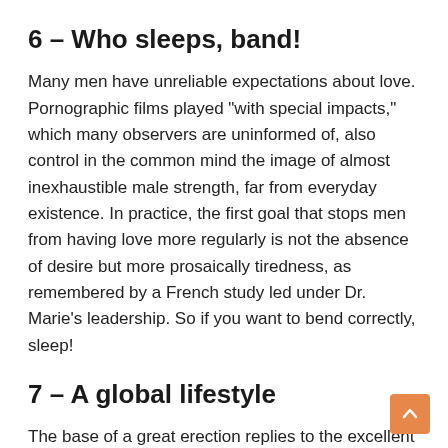6 - Who sleeps, band!
Many men have unreliable expectations about love. Pornographic films played "with special impacts," which many observers are uninformed of, also control in the common mind the image of almost inexhaustible male strength, far from everyday existence. In practice, the first goal that stops men from having love more regularly is not the absence of desire but more prosaically tiredness, as remembered by a French study led under Dr. Marie's leadership. So if you want to bend correctly, sleep!
7 - A global lifestyle
The base of a great erection replies to the excellent health of life in general: no smoke, to eat healthily, and play sports. We will add: restrict your stress, shun drugs, skip illnesses or medications associated with softening things up, sleep at night, feel positive, etc. The nervous